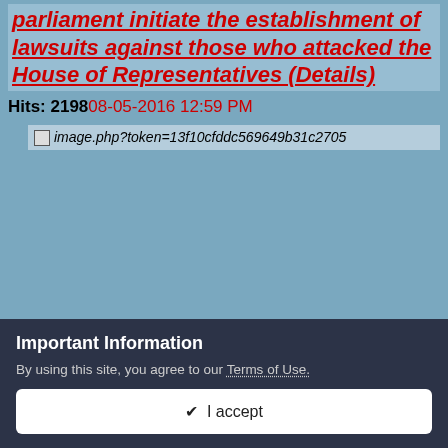parliament initiate the establishment of lawsuits against those who attacked the House of Representatives (Details)
Hits: 2198 08-05-2016 12:59 PM
[Figure (other): Broken image placeholder: image.php?token=13f10cfddc569649b31c2705]
Orbit News -
The Sadrists reject any threat of arrest of the leaders of the demonstrations with Parliament Speaker Salim al - Jubouri announced direct Sulaymaniyah judicial proceedings and start the establishment of lawsuits against those who attacked the House of Representatives.
Important Information
By using this site, you agree to our Terms of Use.
✔ I accept